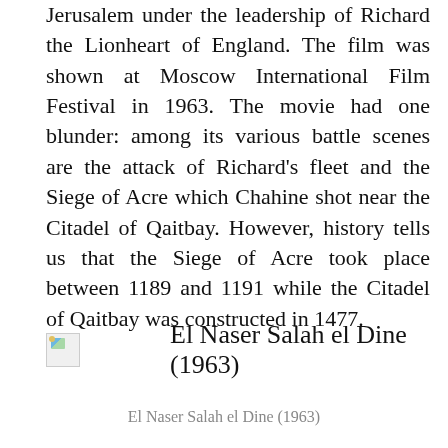Jerusalem under the leadership of Richard the Lionheart of England. The film was shown at Moscow International Film Festival in 1963. The movie had one blunder: among its various battle scenes are the attack of Richard's fleet and the Siege of Acre which Chahine shot near the Citadel of Qaitbay. However, history tells us that the Siege of Acre took place between 1189 and 1191 while the Citadel of Qaitbay was constructed in 1477.
[Figure (photo): Image placeholder with title text 'El Naser Salah el Dine (1963)']
El Naser Salah el Dine (1963)